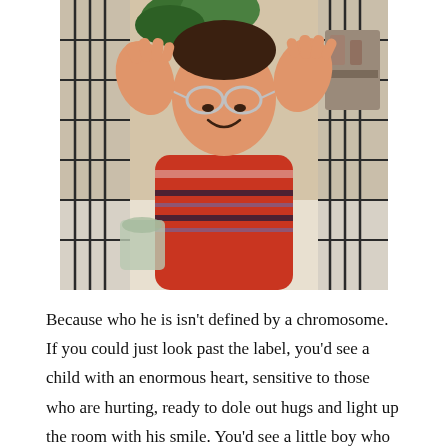[Figure (photo): A young child wearing glasses and a red striped shirt, sitting in a shopping cart with hands raised upward, looking up with a joyful expression. Store shelves and greenery visible in background.]
Because who he is isn't defined by a chromosome. If you could just look past the label, you'd see a child with an enormous heart, sensitive to those who are hurting, ready to dole out hugs and light up the room with his smile. You'd see a little boy who reminds us to pray when we forget, who raises his hands to God in worship service when I'm too self-conscious to, who insists on